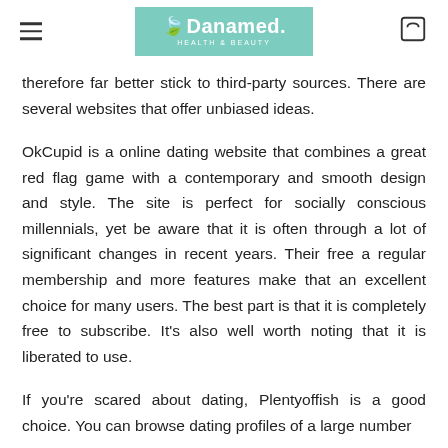Danamed. Health & Beauty
therefore far better stick to third-party sources. There are several websites that offer unbiased ideas.
OkCupid is a online dating website that combines a great red flag game with a contemporary and smooth design and style. The site is perfect for socially conscious millennials, yet be aware that it is often through a lot of significant changes in recent years. Their free a regular membership and more features make that an excellent choice for many users. The best part is that it is completely free to subscribe. It's also well worth noting that it is liberated to use.
If you're scared about dating, Plentyoffish is a good choice. You can browse dating profiles of a large number